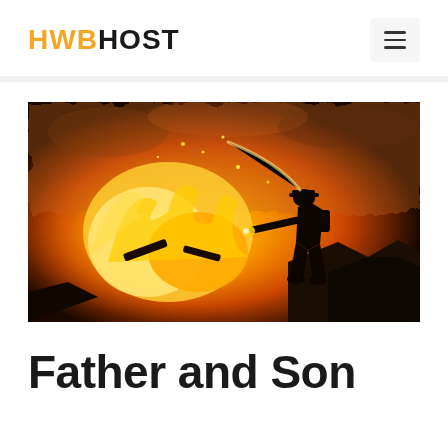HWBHOST
[Figure (photo): A firefighter silhouetted against intense orange and yellow flames and smoke, leaning forward while battling a wildfire, holding equipment, dramatic action shot.]
Father and Son